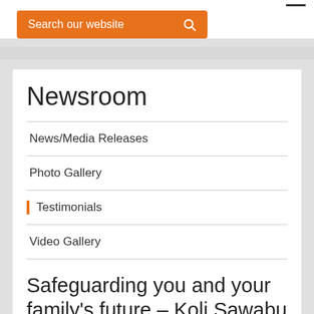Search our website
Newsroom
News/Media Releases
Photo Gallery
Testimonials
Video Gallery
Safeguarding you and your family's future – Koli Sawabu